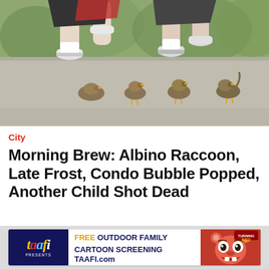[Figure (photo): Runners' legs on a path with several ducklings/goslings waddling on the ground in front of them. The runners are wearing running shoes and shorts. The scene is on a paved or gravel path with greenery in the background.]
City
Morning Brew: Albino Raccoon, Late Frost, Condo Bubble Popped, Another Child Shot Dead
[Figure (infographic): Advertisement banner for TAAFI (Toronto Animation Arts Festival International). Shows the TAAFI logo on dark blue background on the left, center text reads FREE OUTDOOR FAMILY CARTOON SCREENING TAAFI.com, and on the right a red background with an animated character face (from Turning Red) with wide eyes and an open mouth expression.]